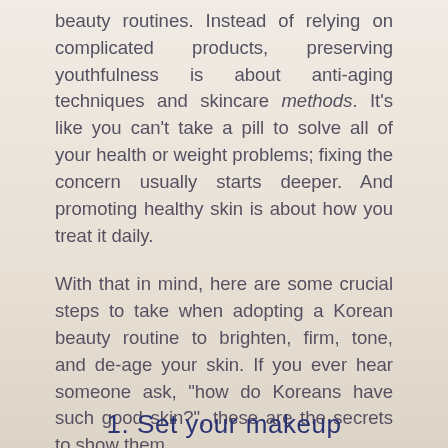beauty routines. Instead of relying on complicated products, preserving youthfulness is about anti-aging techniques and skincare methods. It’s like you can’t take a pill to solve all of your health or weight problems; fixing the concern usually starts deeper. And promoting healthy skin is about how you treat it daily.
With that in mind, here are some crucial steps to take when adopting a Korean beauty routine to brighten, firm, tone, and de-age your skin. If you ever hear someone ask, “how do Koreans have such good skin?”, these are the secrets to show them.
1. Set your makeup